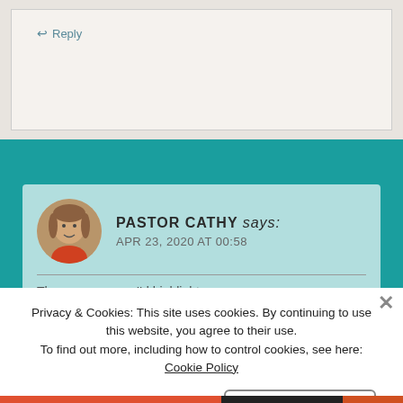↩ Reply
PASTOR CATHY says: APR 23, 2020 AT 00:58
There were more I'd highlight
Privacy & Cookies: This site uses cookies. By continuing to use this website, you agree to their use.
To find out more, including how to control cookies, see here: Cookie Policy
Close and accept